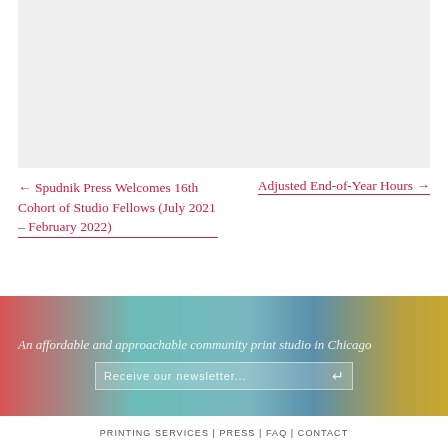[Figure (photo): Light gray placeholder image area at top of page]
← Spudnik Press Welcomes 16th Cohort of Studio Fellows (July 2021 – February 2022)
Adjusted End-of-Year Hours →
[Figure (infographic): Gradient footer banner with social media icons (Facebook, Google+, RSS, Twitter) displayed as bookmark-style tabs]
An affordable and approachable community print studio in Chicago
Receive our newsletter...
PRINTING SERVICES | PRESS | FAQ | CONTACT